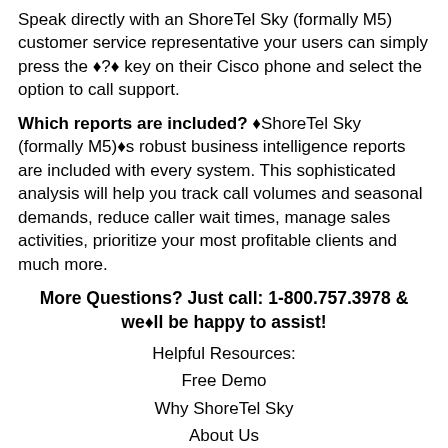Speak directly with an ShoreTel Sky (formally M5) customer service representative your users can simply press the ◆?◆ key on their Cisco phone and select the option to call support.
Which reports are included? ◆ShoreTel Sky (formally M5)◆s robust business intelligence reports are included with every system. This sophisticated analysis will help you track call volumes and seasonal demands, reduce caller wait times, manage sales activities, prioritize your most profitable clients and much more.
More Questions? Just call: 1-800.757.3978 & we◆ll be happy to assist!
Helpful Resources:
Free Demo
Why ShoreTel Sky
About Us
First Name: